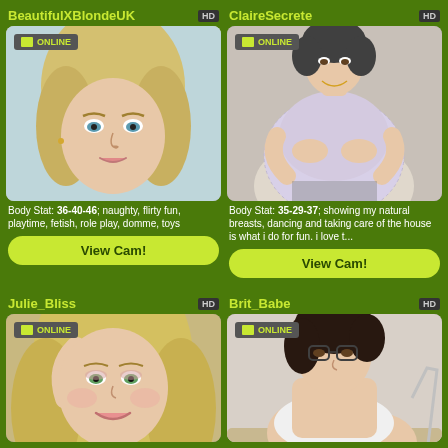BeautifulXBlondeUK
[Figure (photo): Blonde woman selfie photo with ONLINE badge and HD badge]
Body Stat: 36-40-46; naughty, flirty fun, playtime, fetish, role play, domme, toys
View Cam!
ClaireSecrete
[Figure (photo): Woman in floral dress photo with ONLINE badge and HD badge]
Body Stat: 35-29-37; showing my natural breasts, dancing and taking care of the house is what i do for fun. i love t...
View Cam!
Julie_Bliss
[Figure (photo): Blonde woman smiling photo with ONLINE badge and HD badge]
Brit_Babe
[Figure (photo): Woman photo with ONLINE badge and HD badge]